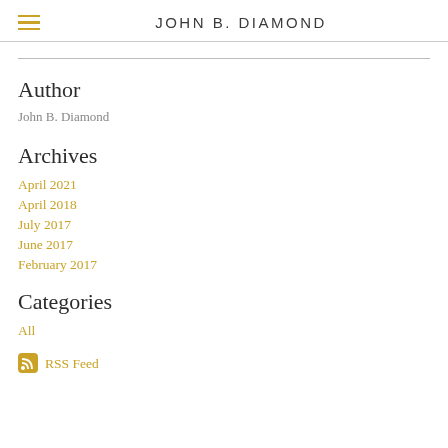JOHN B. DIAMOND
Author
John B. Diamond
Archives
April 2021
April 2018
July 2017
June 2017
February 2017
Categories
All
RSS Feed